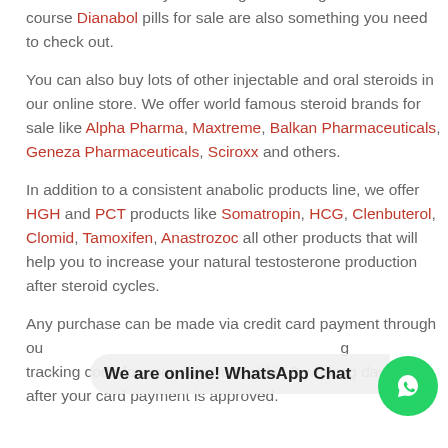are a must for all of your bulking and cutting needs. And of course Dianabol pills for sale are also something you need to check out.
You can also buy lots of other injectable and oral steroids in our online store. We offer world famous steroid brands for sale like Alpha Pharma, Maxtreme, Balkan Pharmaceuticals, Geneza Pharmaceuticals, Sciroxx and others.
In addition to a consistent anabolic products line, we offer HGH and PCT products like Somatropin, HCG, Clenbuterol, Clomid, Tamoxifen, Anastrozole all other products that will help you to increase your natural testosterone production after steroid cycles.
Any purchase can be made via credit card payment through our secure payment gateway, and you'll get a tracking code for your shipment within 3 working days after your card payment is approved.
We are online! WhatsApp Chat